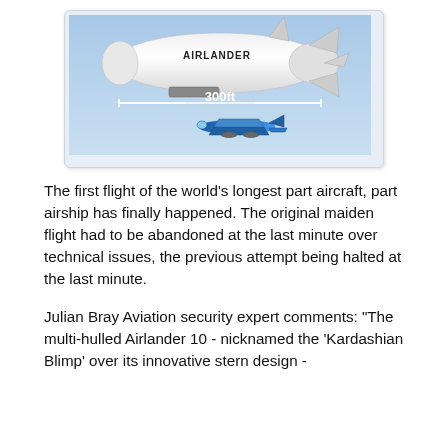[Figure (photo): Airlander 10 airship in flight with a commercial airplane shown below for size comparison. A measurement line shows '300ft' width. The airship is labeled 'AIRLANDER' on its side.]
The first flight of the world's longest part aircraft, part airship has finally happened. The original maiden flight had to be abandoned at the last minute over technical issues, the previous attempt being halted at the last minute.
Julian Bray Aviation security expert comments: "The multi-hulled Airlander 10 - nicknamed the 'Kardashian Blimp' over its innovative stern design - was originally destined for the US Navy but the